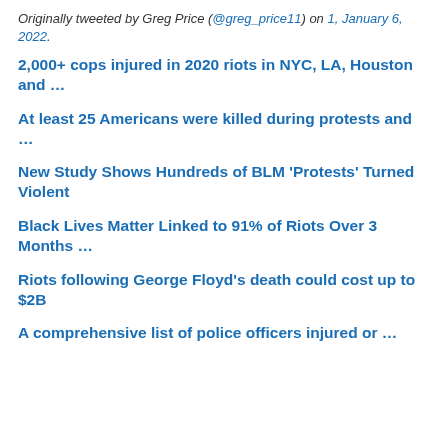Originally tweeted by Greg Price (@greg_price11) on 1, January 6, 2022.
2,000+ cops injured in 2020 riots in NYC, LA, Houston and …
At least 25 Americans were killed during protests and …
New Study Shows Hundreds of BLM 'Protests' Turned Violent
Black Lives Matter Linked to 91% of Riots Over 3 Months …
Riots following George Floyd's death could cost up to $2B
A comprehensive list of police officers injured or …